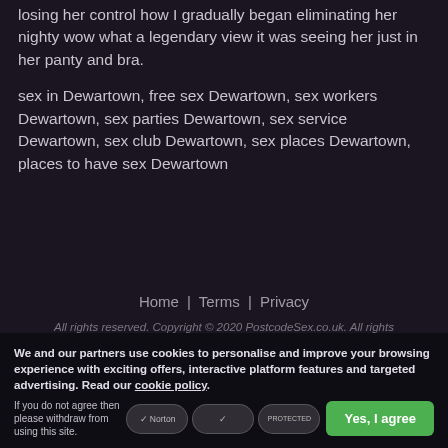losing her control how I gradually began eliminating her nighty wow what a legendary view it was seeing her just in her panty and bra.
sex in Dewartown, free sex Dewartown, sex workers Dewartown, sex parties Dewartown, sex service Dewartown, sex club Dewartown, sex places Dewartown, places to have sex Dewartown
Home | Terms | Privacy
All rights reserved. Copyright © 2020 PostcodeSex.co.uk. All rights reserved.
We and our partners use cookies to personalise and improve your browsing experience with exciting offers, interactive platform features and targeted advertising. Read our cookie policy.
If you do not agree then please withdraw from using this site.